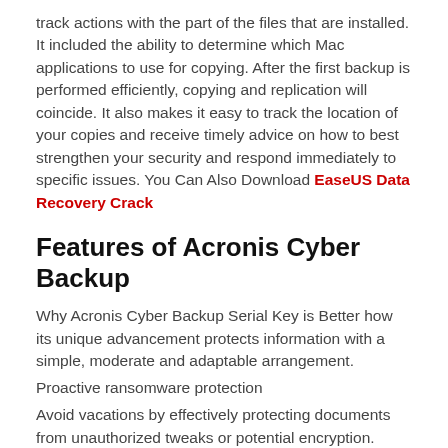track actions with the part of the files that are installed. It included the ability to determine which Mac applications to use for copying. After the first backup is performed efficiently, copying and replication will coincide. It also makes it easy to track the location of your copies and receive timely advice on how to best strengthen your security and respond immediately to specific issues. You Can Also Download EaseUS Data Recovery Crack
Features of Acronis Cyber Backup
Why Acronis Cyber Backup Serial Key is Better how its unique advancement protects information with a simple, moderate and adaptable arrangement.
Proactive ransomware protection
Avoid vacations by effectively protecting documents from unauthorized tweaks or potential encryption.
Acronis Active Protection uses computer thinking and AI innovations,
along with the white gradient to protect your information.
recovery time.